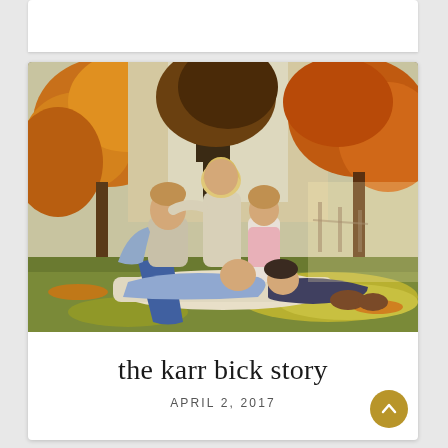[Figure (photo): Family photo of parents and three children sitting together on a blanket on grass under autumn trees with orange and yellow foliage]
the karr bick story
APRIL 2, 2017